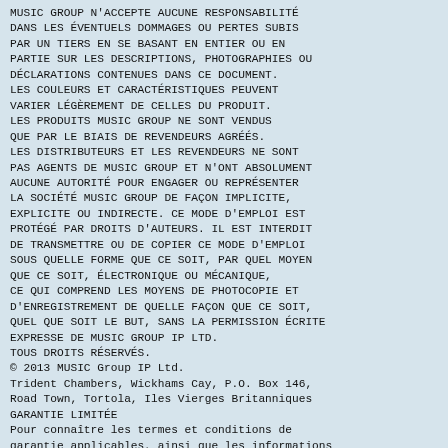MUSIC GROUP N'ACCEPTE AUCUNE RESPONSABILITÉ DANS LES ÉVENTUELS DOMMAGES OU PERTES SUBIS PAR UN TIERS EN SE BASANT EN ENTIER OU EN PARTIE SUR LES DESCRIPTIONS, PHOTOGRAPHIES OU DÉCLARATIONS CONTENUES DANS CE DOCUMENT. LES COULEURS ET CARACTÉRISTIQUES PEUVENT VARIER LÉGÈREMENT DE CELLES DU PRODUIT. LES PRODUITS MUSIC GROUP NE SONT VENDUS QUE PAR LE BIAIS DE REVENDEURS AGRÉÉS. LES DISTRIBUTEURS ET LES REVENDEURS NE SONT PAS AGENTS DE MUSIC GROUP ET N'ONT ABSOLUMENT AUCUNE AUTORITÉ POUR ENGAGER OU REPRÉSENTER LA SOCIÉTÉ MUSIC GROUP DE FAÇON IMPLICITE, EXPLICITE OU INDIRECTE. CE MODE D'EMPLOI EST PROTÉGÉ PAR DROITS D'AUTEURS. IL EST INTERDIT DE TRANSMETTRE OU DE COPIER CE MODE D'EMPLOI SOUS QUELLE FORME QUE CE SOIT, PAR QUEL MOYEN QUE CE SOIT, ÉLECTRONIQUE OU MÉCANIQUE, CE QUI COMPREND LES MOYENS DE PHOTOCOPIE ET D'ENREGISTREMENT DE QUELLE FAÇON QUE CE SOIT, QUEL QUE SOIT LE BUT, SANS LA PERMISSION ÉCRITE EXPRESSE DE MUSIC GROUP IP LTD. TOUS DROITS RÉSERVÉS.
© 2013 MUSIC Group IP Ltd.
Trident Chambers, Wickhams Cay, P.O. Box 146,
Road Town, Tortola, Iles Vierges Britanniques
GARANTIE LIMITÉE
Pour connaître les termes et conditions de garantie applicables, ainsi que les informations supplémentaires et détaillées sur la Garantie Limitée de MUSIC Group, consultez le site Internet www.music-group.com/warranty.
Wichtige